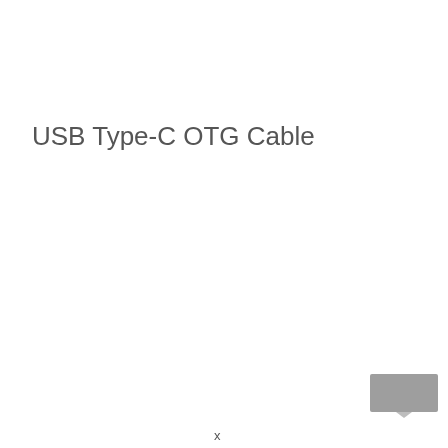USB Type-C OTG Cable
[Figure (illustration): Small grey rectangular image resembling a card or chip in the bottom right area of the page]
x